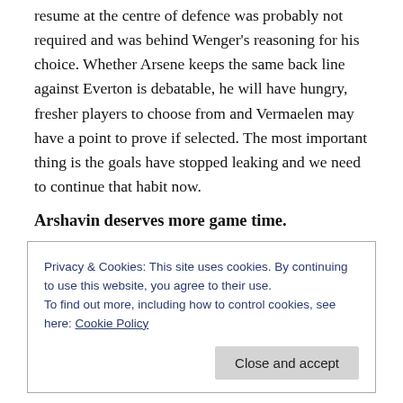resume at the centre of defence was probably not required and was behind Wenger's reasoning for his choice. Whether Arsene keeps the same back line against Everton is debatable, he will have hungry, fresher players to choose from and Vermaelen may have a point to prove if selected. The most important thing is the goals have stopped leaking and we need to continue that habit now.
Arshavin deserves more game time.
I understand our Russian 23 is out of favour with Arsene this season; he is most likely to move on in the next
Privacy & Cookies: This site uses cookies. By continuing to use this website, you agree to their use.
To find out more, including how to control cookies, see here: Cookie Policy
Close and accept